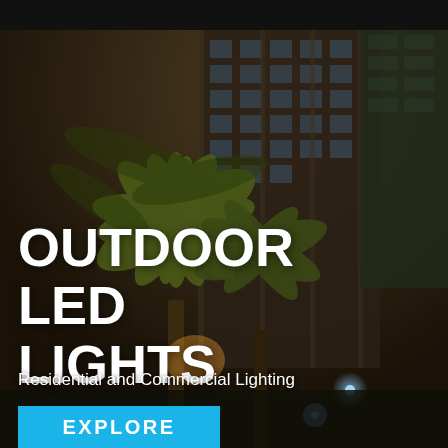[Figure (photo): Night-time photograph of illuminated palm trees in front of a large glass office building, with bright LED lights visible among the trees and in the background.]
OUTDOOR LED LIGHTS
Residential and Commercial Lighting
EXPLORE